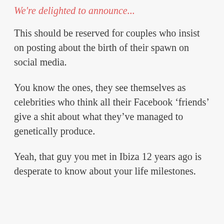We're delighted to announce...
This should be reserved for couples who insist on posting about the birth of their spawn on social media.
You know the ones, they see themselves as celebrities who think all their Facebook ‘friends’ give a shit about what they’ve managed to genetically produce.
Yeah, that guy you met in Ibiza 12 years ago is desperate to know about your life milestones.